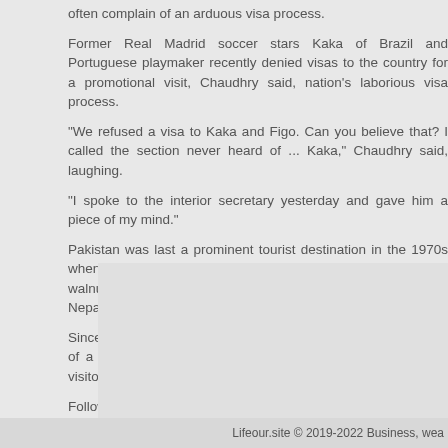often complain of an arduous visa process.
Former Real Madrid soccer stars Kaka of Brazil and Portuguese playmaker recently denied visas to the country for a promotional visit, Chaudhry said, nation's laborious visa process.
“We refused a visa to Kaka and Figo. Can you believe that? I called the section never heard of ... Kaka,” Chaudhry said, laughing.
“I spoke to the interior secretary yesterday and gave him a piece of my mind.”
Pakistan was last a prominent tourist destination in the 1970s when the “hipp Western travelers through the apricot and walnut orchards of the Swat Valley their way to India and Nepal.
Since then, a deteriorating security situation and the imposition of a harsh Islamic laws has chipped away at the number of visitors.
Following Pakistan’s participation in the U.S.-led war in Afghanistan after the 2001 attacks in New York and Washington, the country was rocked by a de large-scale militant attacks.
Security has since improved dramatically, with militant attacks down sharp Muslim country of 208 million people.
British Airways on Tuesday announced it would resume flights to Pakistan next year absence that followed a major hotel bombing, becoming the first Western such flights.
Lifeour.site © 2019-2022 Business, wea